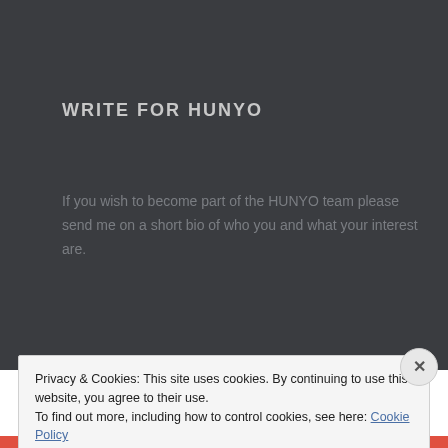WRITE FOR HUNYO
If you wish to become part of the HUNYO team please send me on a short bio of who you and what your interest are.
Privacy & Cookies: This site uses cookies. By continuing to use this website, you agree to their use.
To find out more, including how to control cookies, see here: Cookie Policy
Close and accept